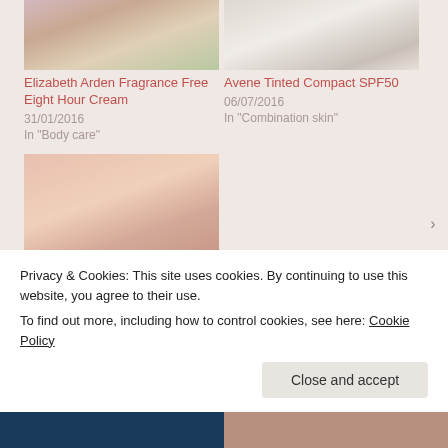[Figure (photo): Cropped photo of Elizabeth Arden cream product with floral background]
[Figure (photo): Cropped photo of woman's face for Avene Tinted Compact SPF50]
Elizabeth Arden Fragrance Free Eight Hour Cream
31/01/2016
In "Body care"
Avene Tinted Compact SPF50
06/07/2016
In "Combination skin"
[Figure (photo): Close-up photo of hand/skin swatch for Benefit Dream Screen SPF 45]
Benefit Dream Screen SPF 45 Broad Spectrum Sunscreen
11/07/2015
Privacy & Cookies: This site uses cookies. By continuing to use this website, you agree to their use.
To find out more, including how to control cookies, see here: Cookie Policy
Close and accept